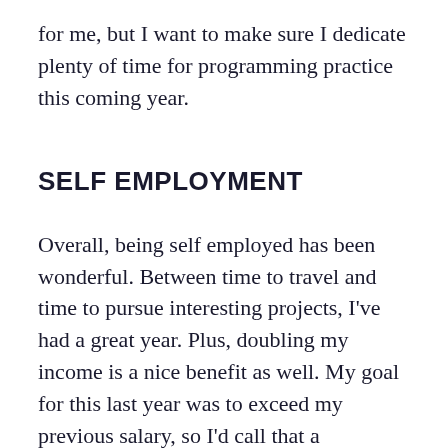for me, but I want to make sure I dedicate plenty of time for programming practice this coming year.
SELF EMPLOYMENT
Overall, being self employed has been wonderful. Between time to travel and time to pursue interesting projects, I've had a great year. Plus, doubling my income is a nice benefit as well. My goal for this last year was to exceed my previous salary, so I'd call that a